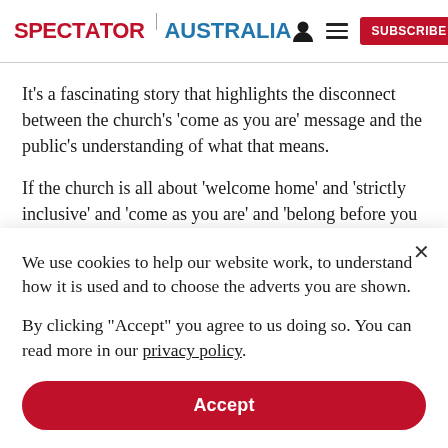SPECTATOR | AUSTRALIA
It’s a fascinating story that highlights the disconnect between the church’s ‘come as you are’ message and the public’s understanding of what that means.
If the church is all about ‘welcome home’ and ‘strictly inclusive’ and ‘come as you are’ and ‘belong before you
We use cookies to help our website work, to understand how it is used and to choose the adverts you are shown.
By clicking "Accept" you agree to us doing so. You can read more in our privacy policy.